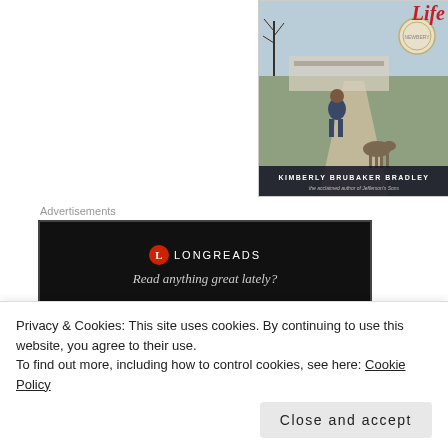[Figure (illustration): Book cover for a children's novel by Kimberly Brubaker Bradley, showing a girl in a blue dress standing on a road with a horse, bare trees and a building in the background. A Newbery Honor medal is visible. The title 'Life' is shown in red cursive at the top. Author name 'KIMBERLY BRUBAKER BRADLEY' appears in white on a dark band.]
Advertisements
[Figure (screenshot): Advertisement banner for Longreads. Black background with Longreads logo (red circle with L) and text 'Read anything great lately?']
REPORT THIS AD
This book. Words cannot express how
Privacy & Cookies: This site uses cookies. By continuing to use this website, you agree to their use.
To find out more, including how to control cookies, see here: Cookie Policy
Close and accept